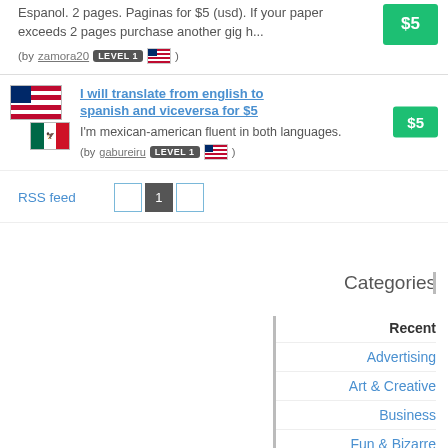Espanol. 2 pages. Paginas for $5 (usd). If your paper exceeds 2 pages purchase another gig h...
(by zamora20 LEVEL 1 🇺🇸)
I will translate from english to spanish and viceversa for $5
I'm mexican-american fluent in both languages.
(by gabureiru LEVEL 1 🇺🇸)
RSS feed
Categories
Recent
Advertising
Art & Creative
Business
Fun & Bizarre
Gift Ideas